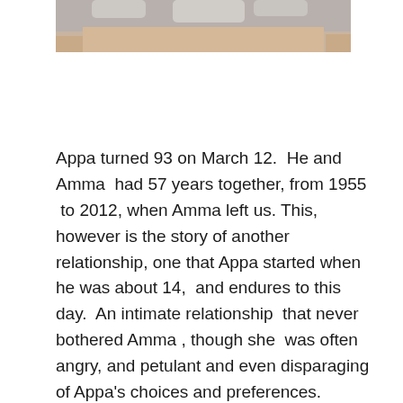[Figure (photo): Partial photograph of an elderly person, likely showing the top of their head and face, with light gray/white hair, cropped at the top of the page.]
Appa turned 93 on March 12.  He and Amma  had 57 years together, from 1955  to 2012, when Amma left us. This, however is the story of another relationship, one that Appa started when he was about 14,  and endures to this day.  An intimate relationship  that never bothered Amma , though she  was often angry, and petulant and even disparaging of Appa's choices and preferences. Sometimes, it seemed to me that Amma reserved an extra dose of meanness for him when she  laughed at his expense, and I felt torn – should I laugh with her, or  show solidarity with Appa by not smiling. Appa himself  never let it bother him, I think. Come to think of it, I don't